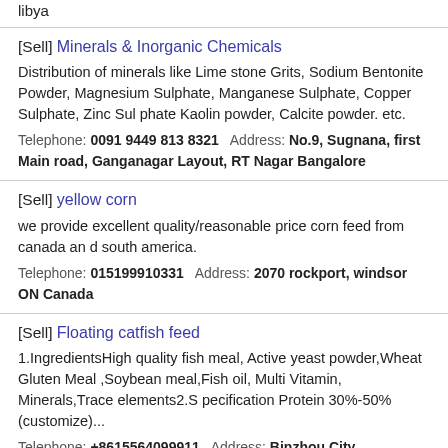libya
[Sell] Minerals & Inorganic Chemicals
Distribution of minerals like Lime stone Grits, Sodium Bentonite Powder, Magnesium Sulphate, Manganese Sulphate, Copper Sulphate, Zinc Sulphate Kaolin powder, Calcite powder. etc.
Telephone: 0091 9449 813 8321  Address: No.9, Sugnana, first Main road, Ganganagar Layout, RT Nagar Bangalore
[Sell] yellow corn
we provide excellent quality/reasonable price corn feed from canada and south america.
Telephone: 015199910331  Address: 2070 rockport, windsor ON Canada
[Sell] Floating catfish feed
1.IngredientsHigh quality fish meal, Active yeast powder,Wheat Gluten Meal ,Soybean meal,Fish oil, Multi Vitamin, Minerals,Trace elements2.Specification Protein 30%-50% (customize)...
Telephone: +8615564099911  Address: Binzhou City, Shandong Province,China
[Sell] Tapioca Pellet
Tapioca Residue Pellets are used as a raw material for the animal feed industry and manufactured under rigid quality control; our products are t